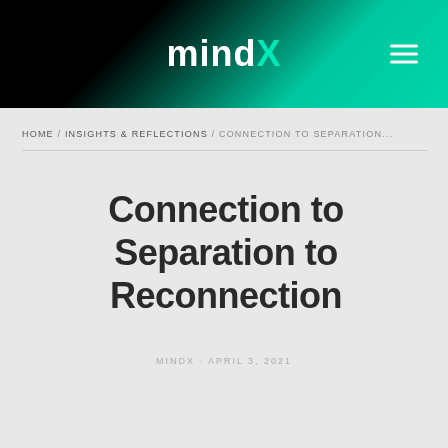mindX
HOME / INSIGHTS & REFLECTIONS / CONNECTION TO SEPARATION...
Connection to Separation to Reconnection
MINDX · APRIL 3, 2021